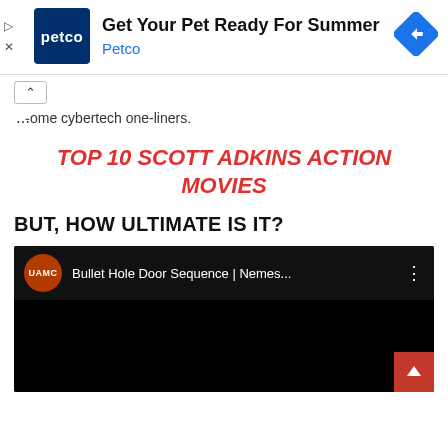[Figure (screenshot): Petco advertisement banner with Petco logo on dark blue background, text 'Get Your Pet Ready For Summer' and 'Petco' in blue, blue diamond navigation icon on right, play and close controls on left]
...some cybertech one-liners.
TOP 10 SCOTT ADKINS ACTION MOVIES
BUT, HOW ULTIMATE IS IT?
[Figure (screenshot): YouTube video embed showing UAMC channel logo (red circle with UAMC text), video title 'Bullet Hole Door Sequence | Nemes...' on dark background, three-dot menu icon, black video area with red scroll-to-top button in bottom right corner]